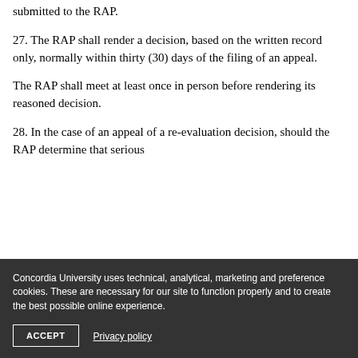submitted to the RAP.
27. The RAP shall render a decision, based on the written record only, normally within thirty (30) days of the filing of an appeal.
The RAP shall meet at least once in person before rendering its reasoned decision.
28. In the case of an appeal of a re-evaluation decision, should the RAP determine that serious
Concordia University uses technical, analytical, marketing and preference cookies. These are necessary for our site to function properly and to create the best possible online experience.
ACCEPT
Privacy policy